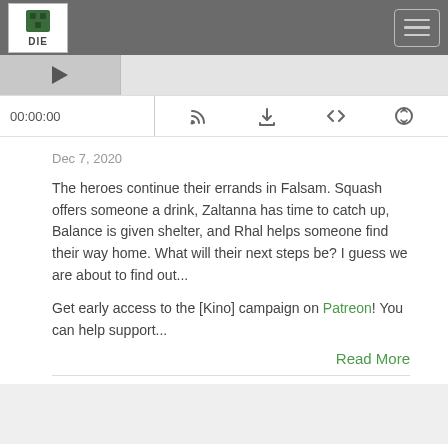DIE (logo) — navigation header with hamburger menu
[Figure (screenshot): Podcast player interface with thumbnail, waveform, time display 00:00:00, and control icons (RSS, download, embed, share)]
Dec 7, 2020
The heroes continue their errands in Falsam. Squash offers someone a drink, Zaltanna has time to catch up, Balance is given shelter, and Rhal helps someone find their way home. What will their next steps be? I guess we are about to find out...
Get early access to the [Kino] campaign on Patreon! You can help support...
Read More